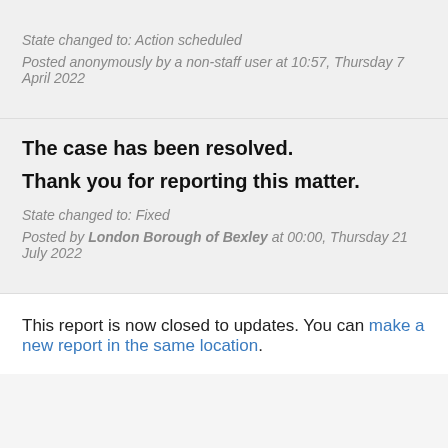State changed to: Action scheduled
Posted anonymously by a non-staff user at 10:57, Thursday 7 April 2022
The case has been resolved.
Thank you for reporting this matter.
State changed to: Fixed
Posted by London Borough of Bexley at 00:00, Thursday 21 July 2022
This report is now closed to updates. You can make a new report in the same location.